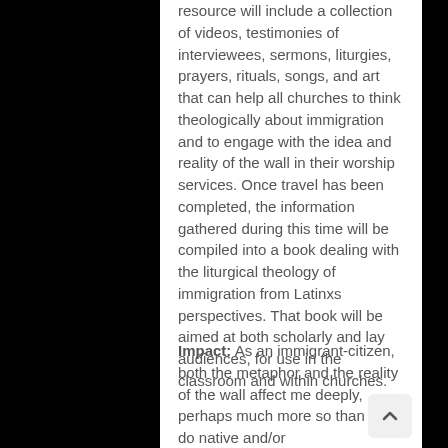resource will include a collection of videos, testimonies of interviewees, sermons, liturgies, prayers, rituals, songs, and art that can help all churches to think theologically about immigration and to engage with the idea and reality of the wall in their worship services. Once travel has been completed, the information gathered during this time will be compiled into a book dealing with the liturgical theology of immigration from Latinxs perspectives. That book will be aimed at both scholarly and lay audiences, for use in the classroom and within churches.
Impact: As an immigrant-citizen, both the metaphor and the reality of the wall affect me deeply, perhaps much more so than they do native and/or